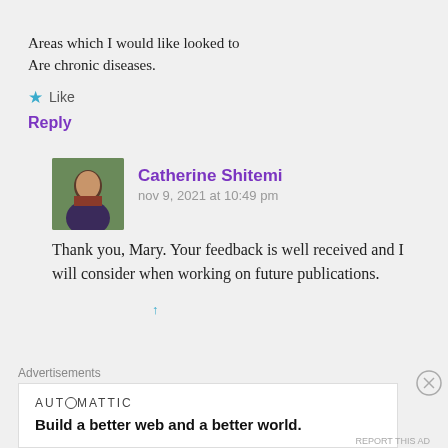Areas which I would like looked to Are chronic diseases.
★ Like
Reply
Catherine Shitemi
nov 9, 2021 at 10:49 pm
Thank you, Mary. Your feedback is well received and I will consider when working on future publications.
Advertisements
AUTOMATTIC
Build a better web and a better world.